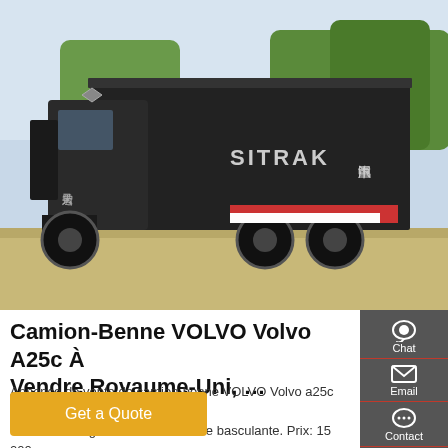[Figure (photo): Side view of a black SITRAK Camion-Benne (dump truck) parked on a lot, with trees in the background and Chinese characters on the side of the truck.]
Camion-Benne VOLVO Volvo A25c À Vendre Royaume-Uni, …
Annonce de vente de camion-benne VOLVO Volvo a25c de Grande-Bretagne. Camion à benne basculante. Prix: 15 000 €. Année: 1995